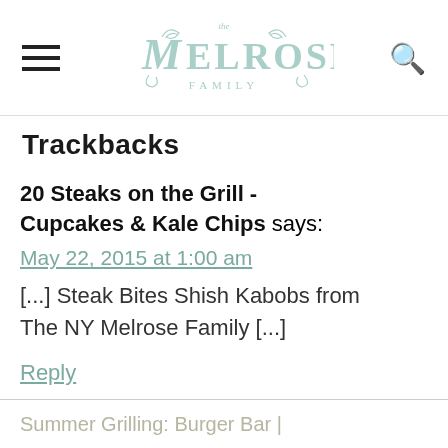The Melrose Family
Trackbacks
20 Steaks on the Grill - Cupcakes & Kale Chips says:
May 22, 2015 at 1:00 am
[...] Steak Bites Shish Kabobs from The NY Melrose Family [...]
Reply
Summer Grilling: Burger Bar |